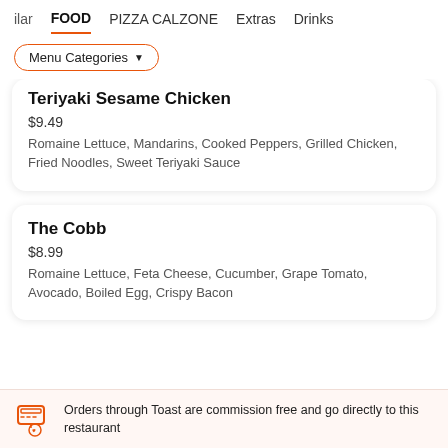ilar   FOOD   PIZZA CALZONE   Extras   Drinks
Menu Categories ▼
Teriyaki Sesame Chicken
$9.49
Romaine Lettuce, Mandarins, Cooked Peppers, Grilled Chicken, Fried Noodles, Sweet Teriyaki Sauce
The Cobb
$8.99
Romaine Lettuce, Feta Cheese, Cucumber, Grape Tomato, Avocado, Boiled Egg, Crispy Bacon
Orders through Toast are commission free and go directly to this restaurant